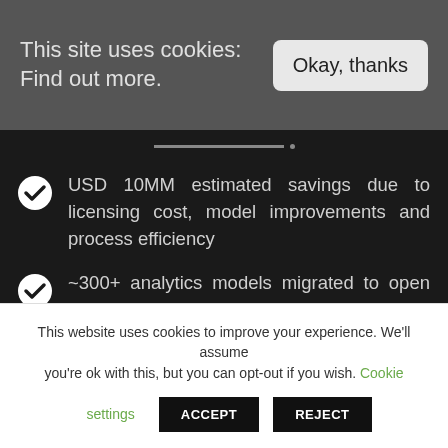This site uses cookies: Find out more. | Okay, thanks
USD 10MM estimated savings due to licensing cost, model improvements and process efficiency
~300+ analytics models migrated to open source across 12 Lines of Business
Improved process efficiency with reduced turnaround time and streamlined analytics process by developing reusable components.
This website uses cookies to improve your experience. We'll assume you're ok with this, but you can opt-out if you wish. Cookie settings ACCEPT REJECT